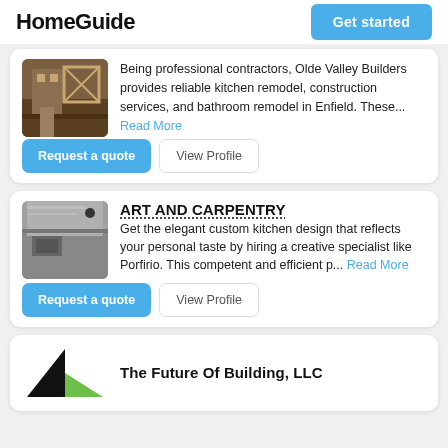HomeGuide
Being professional contractors, Olde Valley Builders provides reliable kitchen remodel, construction services, and bathroom remodel in Enfield. These... Read More
Request a quote | View Profile
ART AND CARPENTRY
Get the elegant custom kitchen design that reflects your personal taste by hiring a creative specialist like Porfirio. This competent and efficient p... Read More
Request a quote | View Profile
The Future Of Building, LLC